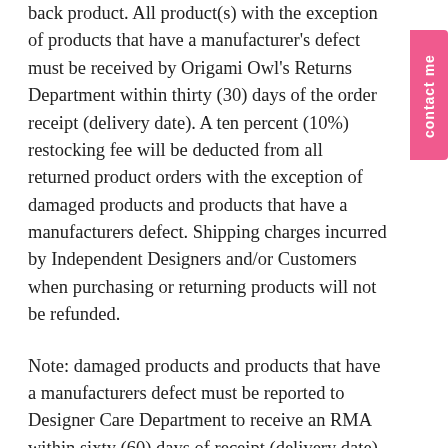back product. All product(s) with the exception of products that have a manufacturer's defect must be received by Origami Owl's Returns Department within thirty (30) days of the order receipt (delivery date). A ten percent (10%) restocking fee will be deducted from all returned product orders with the exception of damaged products and products that have a manufacturers defect. Shipping charges incurred by Independent Designers and/or Customers when purchasing or returning products will not be refunded.
Note: damaged products and products that have a manufacturers defect must be reported to Designer Care Department to receive an RMA within sixty (60) days of receipt (delivery date), and must be received by Origami Owl's Returns Department within ninety (90) days of the order receipt (delivery date).
Within 90 Days
In the rare case your Origami Owl® jewelry has a